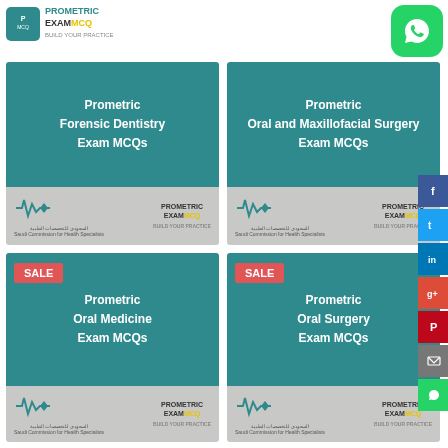[Figure (logo): Prometric ExamMCQ logo top left]
[Figure (logo): WhatsApp button top right]
[Figure (illustration): Book cover: Prometric Forensic Dentistry Exam MCQs]
[Figure (illustration): Book cover: Prometric Oral and Maxillofacial Surgery Exam MCQs]
[Figure (illustration): Book cover: Prometric Oral Medicine Exam MCQs (SALE)]
[Figure (illustration): Book cover: Prometric Oral Surgery Exam MCQs (SALE)]
[Figure (infographic): Social share sidebar: Facebook, Twitter, LinkedIn, Google+, Pinterest, Email, WhatsApp]